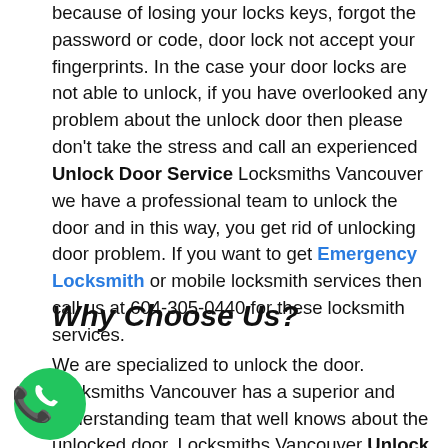because of losing your locks keys, forgot the password or code, door lock not accept your fingerprints. In the case your door locks are not able to unlock, if you have overlooked any problem about the unlock door then please don't take the stress and call an experienced Unlock Door Service Locksmiths Vancouver we have a professional team to unlock the door and in this way, you get rid of unlocking door problem. If you want to get Emergency Locksmith or mobile locksmith services then call us at 604-305-0440 for these locksmith services.
Why Choose Us?
We are specialized to unlock the door. Locksmiths Vancouver has a superior and understanding team that well knows about the unlocked door. Locksmiths Vancouver Unlock Door Service has
[Figure (illustration): Green circular phone call badge/button in bottom-left corner]